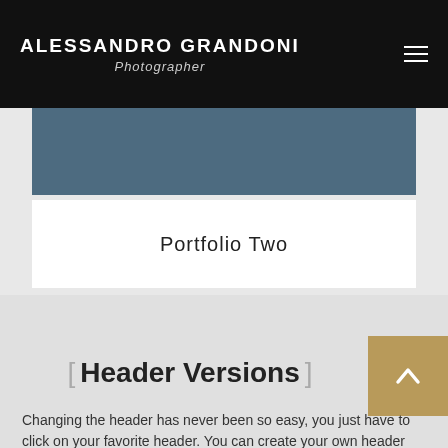ALESSANDRO GRANDONI
Photographer
[Figure (other): Blue-grey banner area at top of content]
Portfolio Two
[Figure (other): Back to top button with upward arrow, gold/tan colored square]
[ Header Versions ]
Changing the header has never been so easy, you just have to click on your favorite header. You can create your own header